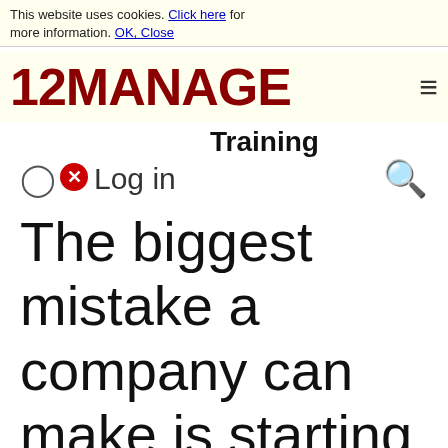This website uses cookies. Click here for more information. OK, Close
[Figure (logo): 12MANAGE logo in dark red bold text with hamburger menu icon]
Training
Log in
The biggest mistake a company can make is starting QC's without adequate training.